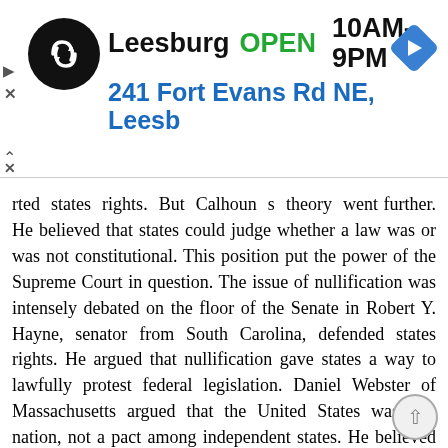[Figure (screenshot): Advertisement banner for a store in Leesburg showing logo, OPEN status, hours 10AM-9PM, and address 241 Fort Evans Rd NE, Leesb, with navigation diamond icon]
rted states rights. But Calhoun s theory went further. He believed that states could judge whether a law was or was not constitutional. This position put the power of the Supreme Court in question. The issue of nullification was intensely debated on the floor of the Senate in Robert Y. Hayne, senator from South Carolina, defended states rights. He argued that nullification gave states a way to lawfully protest federal legislation. Daniel Webster of Massachusetts argued that the United States was one nation, not a pact among independent states. He believed that the welfare of the nation should override that of individual states. Jackson Responds Although deeply opposed to nullification, Jackson was concerned about economic problems in the southern states. In 1832 he urged Congress to pass another tariff that lowered the previous rate. South Carolina thought the slight change was inadequate. The state legislature took a monumental step; it decided to test the doctrine of states rights. South